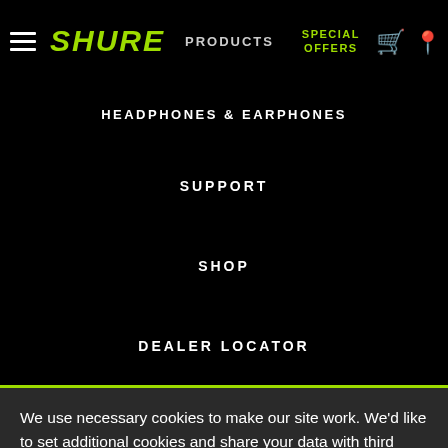SHURE | PRODUCTS | SPECIAL OFFERS
HEADPHONES & EARPHONES
SUPPORT
SHOP
DEALER LOCATOR
We use necessary cookies to make our site work. We'd like to set additional cookies and share your data with third parties such as Facebook Inc. or Google LLC to give you a better browsing experience, analyze
Learn More →
Agree and close